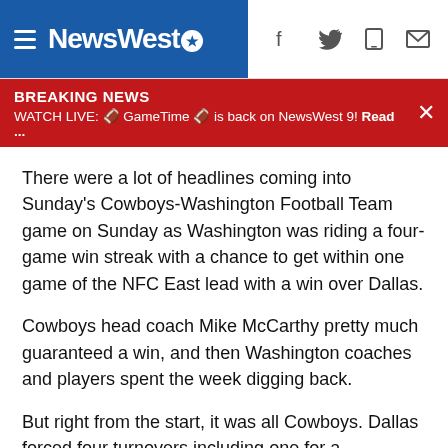NewsWest9
BREAKING NEWS
WATCH LIVE: 🏈 GameTime 🏈 is back on NewsWest 9! Read …
There were a lot of headlines coming into Sunday's Cowboys-Washington Football Team game on Sunday as Washington was riding a four-game win streak with a chance to get within one game of the NFC East lead with a win over Dallas.
Cowboys head coach Mike McCarthy pretty much guaranteed a win, and then Washington coaches and players spent the week digging back.
But right from the start, it was all Cowboys. Dallas forced four turnovers including one for a touchdown in the first half as they jumped out to a commanding 24-0 lead.
Washington certainly made things interesting late. Kyle